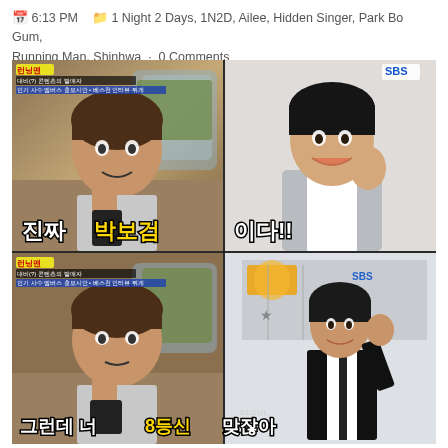6:13 PM  1 Night 2 Days, 1N2D, Ailee, Hidden Singer, Park Bo Gum, Running Man, Shinhwa · 0 Comments
[Figure (photo): Four-panel image from Running Man TV show. Top-left: man in car holding phone to mouth with Korean text overlay. Top-right: young man (Park Bo Gum) smiling in grey jacket. Bottom-left: same man in car looking skeptically with phone. Bottom-right: man in black suit at red carpet event. Large Korean text overlay reads '진짜 박보검이다!!' (It's really Park Bo Gum!!) across top panels, and '그런데 너 8등신 맞잖아' across bottom panels.]